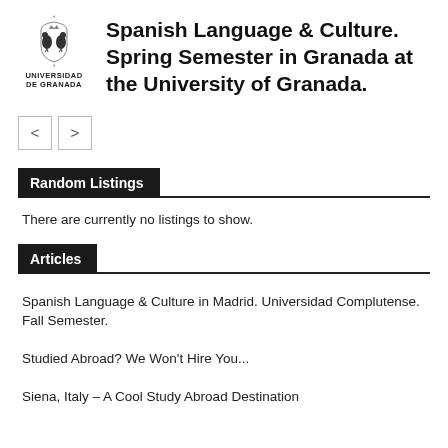[Figure (logo): Universidad de Granada coat of arms logo with text UNIVERSIDAD DE GRANADA below]
Spanish Language & Culture. Spring Semester in Granada at the University of Granada.
[Figure (other): Navigation arrows: left arrow button and right arrow button]
Random Listings
There are currently no listings to show.
Articles
Spanish Language & Culture in Madrid. Universidad Complutense. Fall Semester.
Studied Abroad? We Won't Hire You...
Siena, Italy – A Cool Study Abroad Destination